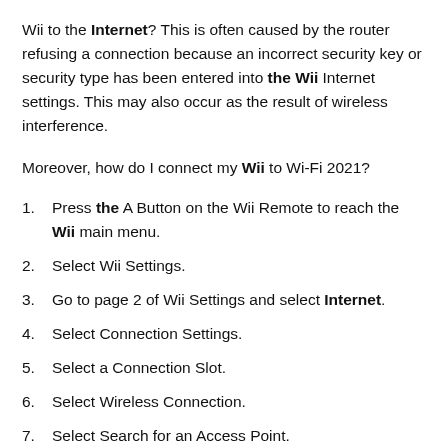Wii to the Internet? This is often caused by the router refusing a connection because an incorrect security key or security type has been entered into the Wii Internet settings. This may also occur as the result of wireless interference.
Moreover, how do I connect my Wii to Wi-Fi 2021?
Press the A Button on the Wii Remote to reach the Wii main menu.
Select Wii Settings.
Go to page 2 of Wii Settings and select Internet.
Select Connection Settings.
Select a Connection Slot.
Select Wireless Connection.
Select Search for an Access Point.
Select OK.